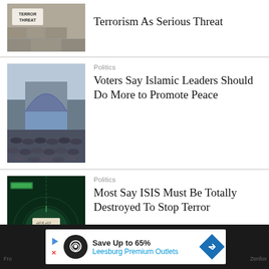[Figure (photo): Terror Threat sign on a stone wall]
Terrorism As Serious Threat
[Figure (photo): Large crowd bowing in prayer outside a mosque]
Politics
Voters Say Islamic Leaders Should Do More to Promote Peace
[Figure (photo): Digital graphic of ISIS flag on dark green radar/target screen]
Politics
Most Say ISIS Must Be Totally Destroyed To Stop Terror
[Figure (other): Advertisement banner: Save Up to 65% Leesburg Premium Outlets]